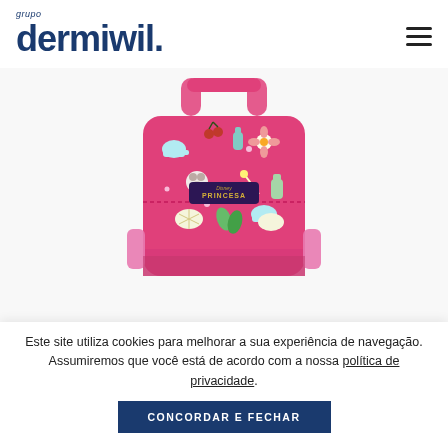grupo dermiwil.
[Figure (photo): Pink Disney Princess patterned backpack/handbag with colorful icons (teacup, shells, flowers, etc.) and a Disney Princess label, shown on white background.]
Este site utiliza cookies para melhorar a sua experiência de navegação. Assumiremos que você está de acordo com a nossa política de privacidade.
CONCORDAR E FECHAR